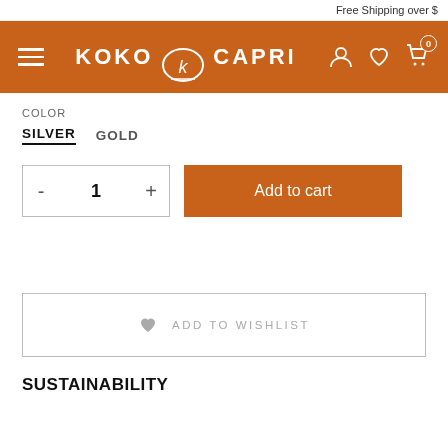Free Shipping over $
[Figure (logo): Koko Capri brand logo on orange navigation bar with hamburger menu, user/wishlist/cart icons]
COLOR
SILVER  GOLD
- 1 +  Add to cart
♥ ADD TO WISHLIST
SUSTAINABILITY